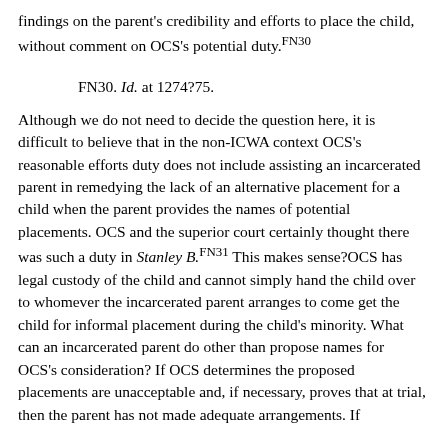findings on the parent's credibility and efforts to place the child, without comment on OCS's potential duty.FN30
FN30. Id. at 1274?75.
Although we do not need to decide the question here, it is difficult to believe that in the non-ICWA context OCS's reasonable efforts duty does not include assisting an incarcerated parent in remedying the lack of an alternative placement for a child when the parent provides the names of potential placements. OCS and the superior court certainly thought there was such a duty in Stanley B.FN31 This makes sense?OCS has legal custody of the child and cannot simply hand the child over to whomever the incarcerated parent arranges to come get the child for informal placement during the child's minority. What can an incarcerated parent do other than propose names for OCS's consideration? If OCS determines the proposed placements are unacceptable and, if necessary, proves that at trial, then the parent has not made adequate arrangements. If